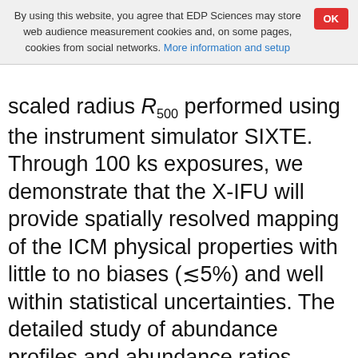By using this website, you agree that EDP Sciences may store web audience measurement cookies and, on some pages, cookies from social networks. More information and setup
scaled radius R500 performed using the instrument simulator SIXTE. Through 100 ks exposures, we demonstrate that the X-IFU will provide spatially resolved mapping of the ICM physical properties with little to no biases (≲5%) and well within statistical uncertainties. The detailed study of abundance profiles and abundance ratios within R500 also highlights the power of the X-IFU in providing constraints on the various enrichment models. From synthetic observations out to z = 2, we have also quantified its ability to track the chemical elements across cosmic time with excellent